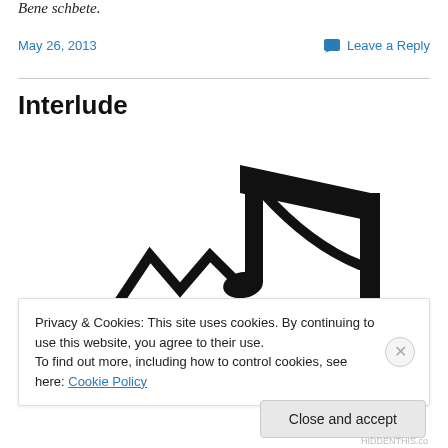Bene schbete.
May 26, 2013
Leave a Reply
Interlude
[Figure (illustration): Black silhouette of a music note (eighth note) on white background]
Privacy & Cookies: This site uses cookies. By continuing to use this website, you agree to their use.
To find out more, including how to control cookies, see here: Cookie Policy
Close and accept